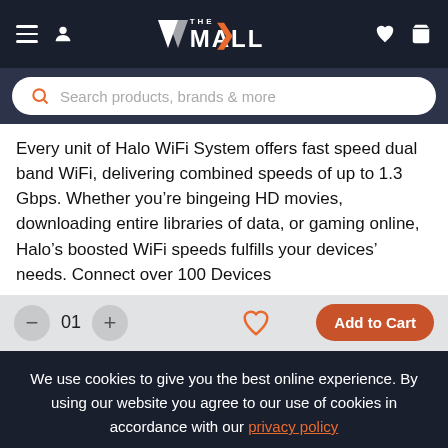AX THE MALL — navigation header with hamburger menu, user icon, logo, heart icon, and cart icon
Search products, brands & more
Every unit of Halo WiFi System offers fast speed dual band WiFi, delivering combined speeds of up to 1.3 Gbps. Whether you're bingeing HD movies, downloading entire libraries of data, or gaming online, Halo's boosted WiFi speeds fulfills your devices' needs. Connect over 100 Devices
— (minus) | 01 | + (plus) | ♡ | Add to Cart
We use cookies to give you the best online experience. By using our website you agree to our use of cookies in accordance with our privacy policy
Continue